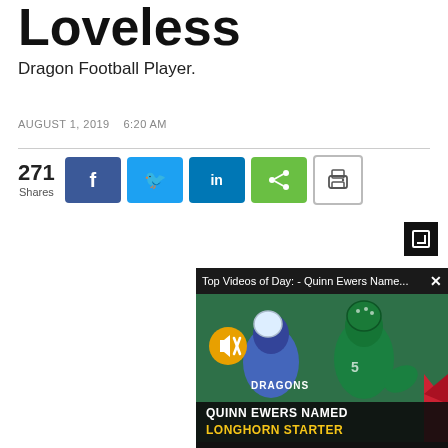Loveless
Dragon Football Player.
AUGUST 1, 2019   6:20 AM
271 Shares
[Figure (screenshot): Social share buttons: Facebook, Twitter, LinkedIn, share icon, and print button]
[Figure (screenshot): Video popup showing 'Top Videos of Day: - Quinn Ewers Name...' with X close button, football players in Dragons uniforms, mute button, and caption 'QUINN EWERS NAMED LONGHORN STARTER']